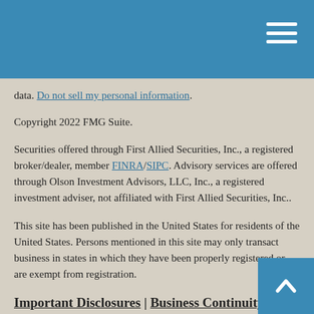[Navigation header with hamburger menu]
data. Do not sell my personal information.
Copyright 2022 FMG Suite.
Securities offered through First Allied Securities, Inc., a registered broker/dealer, member FINRA/SIPC. Advisory services are offered through Olson Investment Advisors, LLC, Inc., a registered investment adviser, not affiliated with First Allied Securities, Inc..
This site has been published in the United States for residents of the United States. Persons mentioned in this site may only transact business in states in which they have been properly registered or are exempt from registration.
Important Disclosures | Business Continuity
Individuals affiliated with this broker/dealer firm are either Registered Representatives who offer only brokerage services and receive transaction-based compensation (commissions), Investment Adviser Representatives who offer only investment